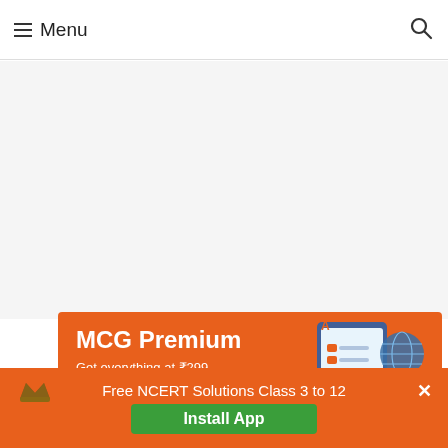Menu
[Figure (screenshot): Blank gray content area placeholder]
[Figure (infographic): MCG Premium banner — orange background with text 'MCG Premium', 'Get everything at ₹299' and illustration of tablet, books, globe]
Free NCERT Solutions Class 3 to 12
Install App